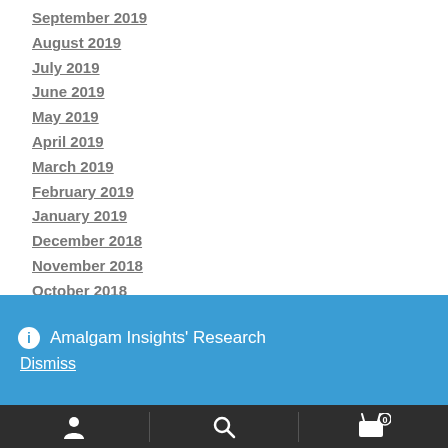September 2019
August 2019
July 2019
June 2019
May 2019
April 2019
March 2019
February 2019
January 2019
December 2018
November 2018
October 2018
September 2018
August 2018
Amalgam Insights' Research
Dismiss